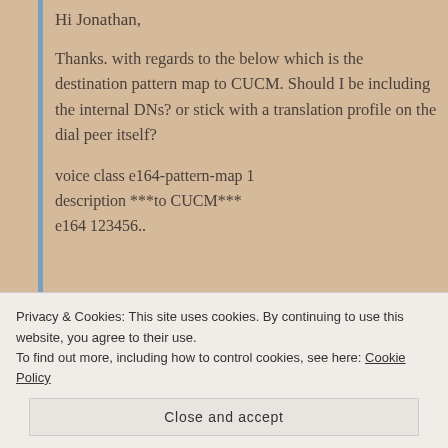Hi Jonathan,
Thanks. with regards to the below which is the destination pattern map to CUCM. Should I be including the internal DNs? or stick with a translation profile on the dial peer itself?
voice class e164-pattern-map 1
description ***to CUCM***
e164 123456..
Privacy & Cookies: This site uses cookies. By continuing to use this website, you agree to their use.
To find out more, including how to control cookies, see here: Cookie Policy
Close and accept